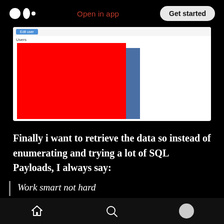Open in app | Get started
[Figure (screenshot): Screenshot of a web application showing a blue top bar with 'Users' label and a large red bar chart element next to a blue sidebar element on a white background.]
Finally i want to retrieve the data so instead of enumerating and trying a lot of SQL Payloads, I always say:
Work smart not hard
So i used the SQLMap to help me doing this. I
Home | Search | Profile